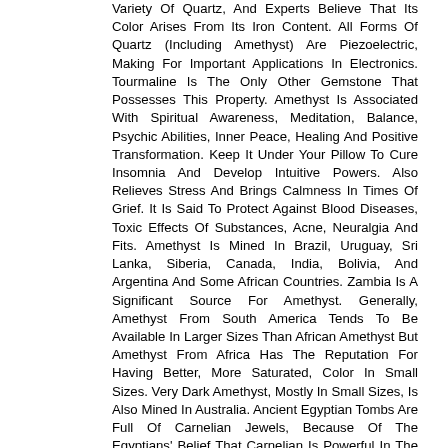Variety Of Quartz, And Experts Believe That Its Color Arises From Its Iron Content. All Forms Of Quartz (Including Amethyst) Are Piezoelectric, Making For Important Applications In Electronics. Tourmaline Is The Only Other Gemstone That Possesses This Property. Amethyst Is Associated With Spiritual Awareness, Meditation, Balance, Psychic Abilities, Inner Peace, Healing And Positive Transformation. Keep It Under Your Pillow To Cure Insomnia And Develop Intuitive Powers. Also Relieves Stress And Brings Calmness In Times Of Grief. It Is Said To Protect Against Blood Diseases, Toxic Effects Of Substances, Acne, Neuralgia And Fits. Amethyst Is Mined In Brazil, Uruguay, Sri Lanka, Siberia, Canada, India, Bolivia, And Argentina And Some African Countries. Zambia Is A Significant Source For Amethyst. Generally, Amethyst From South America Tends To Be Available In Larger Sizes Than African Amethyst But Amethyst From Africa Has The Reputation For Having Better, More Saturated, Color In Small Sizes. Very Dark Amethyst, Mostly In Small Sizes, Is Also Mined In Australia. Ancient Egyptian Tombs Are Full Of Carnelian Jewels, Because Of The Egyptians' Belief That Carnelian Is Powerful In The Path To The Afterlife. According To Their System, Amulets Of Carnelian Proved Helpful In Ensuring A Soul's Safe Passage Into The Next World. In More Modern Times, Goethe Attributed The Powers Of Carnelian To Provide Protection Against Evil, Of Continuation Of Hope, Comfort And Good Luck. The Blood-Red Varieties Were Greatly Valued By The Ancients, Who Produced Beautiful Engravings In Carnelian And Used Them As 'Seals'. Buddhists In China And India Created Amulets Inlaid With Carnelian, Ascribing To Those Amulets The Powers Of Protection And Wishing Them Every